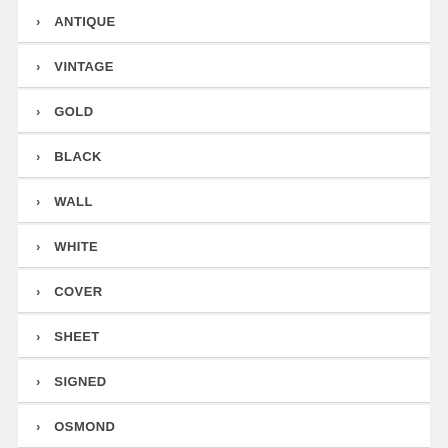ANTIQUE
VINTAGE
GOLD
BLACK
WALL
WHITE
COVER
SHEET
SIGNED
OSMOND